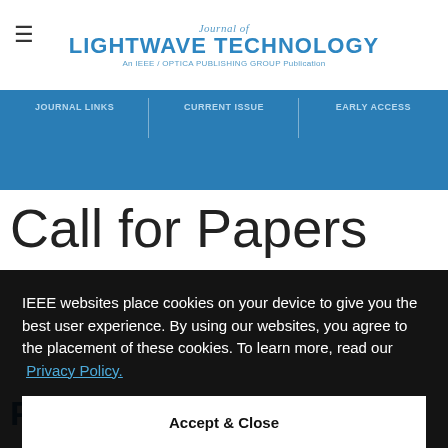Journal of LIGHTWAVE TECHNOLOGY — An IEEE / OPTICA PUBLISHING GROUP Publication
JOURNAL LINKS | CURRENT ISSUE | EARLY ACCESS
Call for Papers
IEEE websites place cookies on your device to give you the best user experience. By using our websites, you agree to the placement of these cookies. To learn more, read our Privacy Policy.
Accept & Close
PHOTONICS